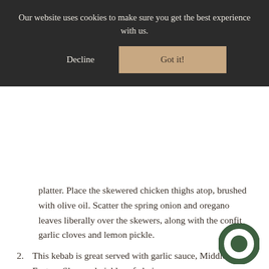Our website uses cookies to make sure you get the best experience with us.
Decline
Got it!
platter. Place the skewered chicken thighs atop, brushed with olive oil. Scatter the spring onion and oregano leaves liberally over the skewers, along with the confit garlic cloves and lemon pickle.
2. This kebab is great served with garlic sauce, Middle Eastern Slaw and pickles of choice.
Share this BUTTERMILK CHICKEN SHISH KB recipe with your friends!